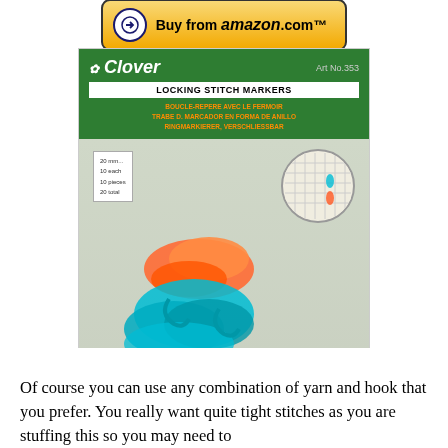[Figure (photo): Clover Locking Stitch Markers product package (Art No. 353) showing orange and teal locking stitch markers in a clear plastic bag with green header, multilingual text including LOCKING STITCH MARKERS / BOUCLE-REPERE AVEC LE FERMOIR / TRABE D. MARCADOR EN FORMA DE ANILLO / RINGMARKIERER, VERSCHLIESSBAR, with inset showing markers used on knitting. CLOVER MFG. CO., LTD. Japan.]
[Figure (photo): Buy from amazon.com button - yellow/gold gradient rounded rectangle button with circular arrow logo]
[Figure (photo): Buy from amazon.co.uk button - yellow/gold gradient rounded rectangle button with circular arrow logo]
Of course you can use any combination of yarn and hook that you prefer. You really want quite tight stitches as you are stuffing this so you may need to